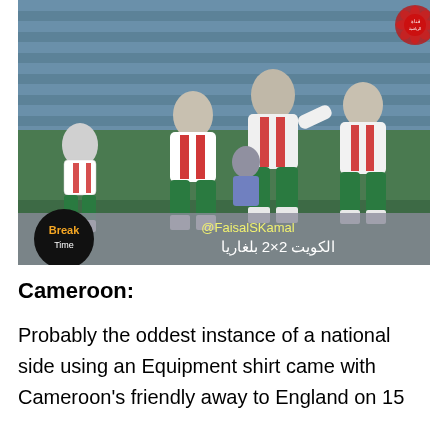[Figure (photo): Screenshot of a football/soccer match video showing players in white jerseys with red stripes and green shorts on a pitch, with stadium bleachers in the background. A TV overlay at the bottom shows the 'Break Time' logo (black circle with orange text), a Twitter handle '@FaisalSKamal', and Arabic text reading 'الكويت 2×2 بلغاريا' (Kuwait 2x2 Bulgaria). A channel logo/watermark appears in the top-right corner.]
Cameroon:
Probably the oddest instance of a national side using an Equipment shirt came with Cameroon's friendly away to England on 15